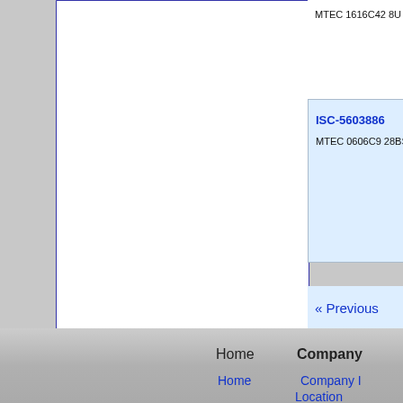[Figure (photo): Screw/tap product image for MTEC 1616C42 8U, partially visible at top]
MTEC 1616C42 8U
[Figure (photo): Screw/tap product image for ISC-5603886 MTEC 0606C9 28BS]
ISC-5603886
MTEC 0606C9 28BS
« Previous
Home   Company
Home   Company I
Location
Contact Us
© 2022 To
All information & pricing su
All names, logos, texts, and i